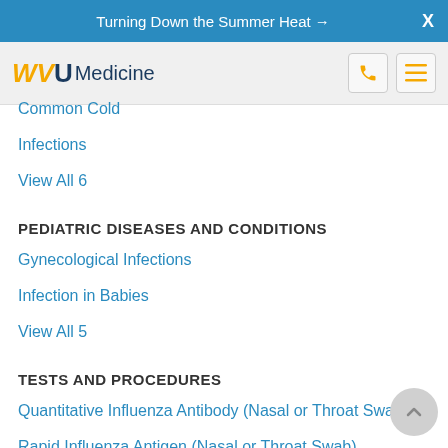Turning Down the Summer Heat →  X
WVU Medicine
Common Cold
Infections
View All 6
PEDIATRIC DISEASES AND CONDITIONS
Gynecological Infections
Infection in Babies
View All 5
TESTS AND PROCEDURES
Quantitative Influenza Antibody (Nasal or Throat Swab)
Rapid Influenza Antigen (Nasal or Throat Swab)
View All 2